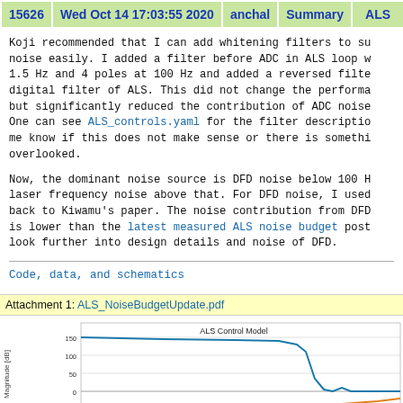15626 | Wed Oct 14 17:03:55 2020 | anchal | Summary | ALS
Koji recommended that I can add whitening filters to suppress ADC noise easily. I added a filter before ADC in ALS loop with 4 zeros at 1.5 Hz and 4 poles at 100 Hz and added a reversed filter in the digital filter of ALS. This did not change the performance of ALS but significantly reduced the contribution of ADC noise. One can see ALS_controls.yaml for the filter description. Please let me know if this does not make sense or there is something I have overlooked.
Now, the dominant noise source is DFD noise below 100 Hz and laser frequency noise above that. For DFD noise, I used a model going back to Kiwamu's paper. The noise contribution from DFD in this model is lower than the latest measured ALS noise budget post. I plan to look further into design details and noise of DFD.
Code, data, and schematics
Attachment 1: ALS_NoiseBudgetUpdate.pdf
[Figure (continuous-plot): ALS Control Model plot showing Magnitude [dB] vs frequency. A blue curve starts around 150 dB, stays high, then drops. An orange curve is also visible at the bottom. Y-axis shows values from -50 to 150 dB.]